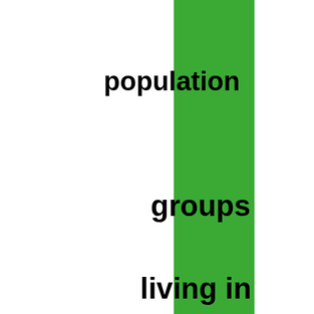[Figure (infographic): A vertical green bar/stripe running the full height of the page, positioned roughly in the center-left area of the page.]
population
groups
living in